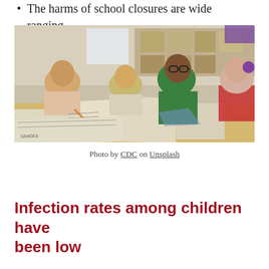The harms of school closures are wide ranging.
[Figure (photo): Children seated at school desks working on worksheets in a classroom. A boy wearing glasses and a green shirt is prominent in the foreground.]
Photo by CDC on Unsplash
Infection rates among children have been low